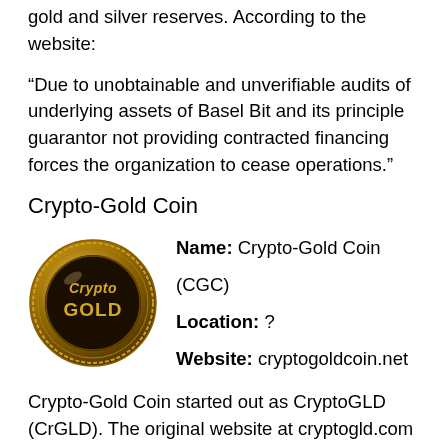gold and silver reserves. According to the website:
“Due to unobtainable and unverifiable audits of underlying assets of Basel Bit and its principle guarantor not providing contracted financing forces the organization to cease operations.”
Crypto-Gold Coin
[Figure (logo): Crypto-Gold Coin logo: a gold metallic coin with 'Crypto GOLD' text engraved on it]
Name: Crypto-Gold Coin (CGC)
Location: ?
Website: cryptogoldcoin.net
Crypto-Gold Coin started out as CryptoGLD (CrGLD). The original website at cryptogld.com is no longer working so I found their new site via the Facebook page. It says they are a cryptocurrency